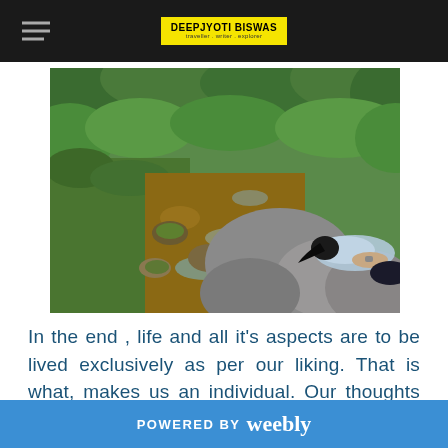DEEPJYOTI BISWAS — Navigation header with logo
[Figure (photo): Person lying on a large rock beside a shallow rocky stream surrounded by lush green forest]
In the end , life and all it's aspects are to be lived exclusively as per our liking. That is what, makes us an individual. Our thoughts are different and yearnings too. Accordingly to our
POWERED BY weebly